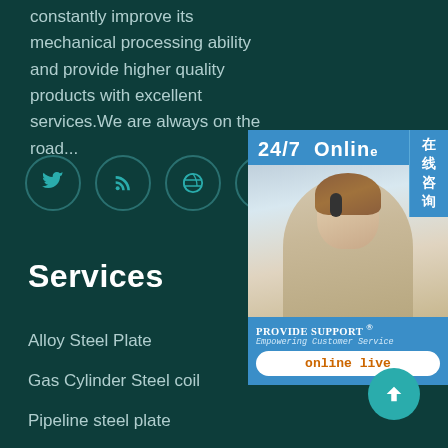constantly improve its mechanical processing ability and provide higher quality products with excellent services.We are always on the road...
[Figure (infographic): Five social media icon circles: Twitter, RSS, Dribbble, Behance, Instagram — teal outlines on dark teal background]
Services
Alloy Steel Plate
Gas Cylinder Steel coil
Pipeline steel plate
Weather Resistant Steel Plate
[Figure (infographic): 24/7 Online chat widget showing a customer service woman with headset, 'PROVIDE SUPPORT Empowering Customer Service' and 'online live' button, with Chinese tab '在线咨询']